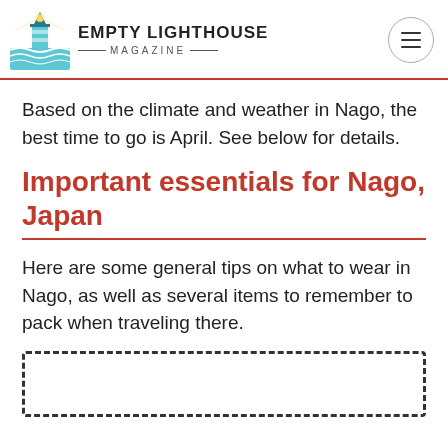EMPTY LIGHTHOUSE MAGAZINE
Based on the climate and weather in Nago, the best time to go is April. See below for details.
Important essentials for Nago, Japan
Here are some general tips on what to wear in Nago, as well as several items to remember to pack when traveling there.
[Figure (other): Dashed border rectangle placeholder/advertisement box]